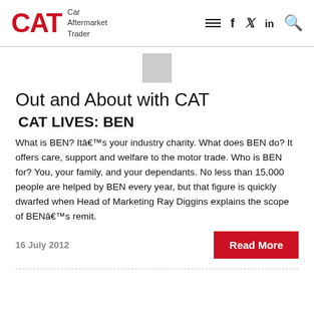CAT Car Aftermarket Trader
Out and About with CAT
CAT LIVES: BEN
What is BEN? Itâs your industry charity. What does BEN do? It offers care, support and welfare to the motor trade. Who is BEN for? You, your family, and your dependants. No less than 15,000 people are helped by BEN every year, but that figure is quickly dwarfed when Head of Marketing Ray Diggins explains the scope of BENâs remit.
16 July 2012
Read More